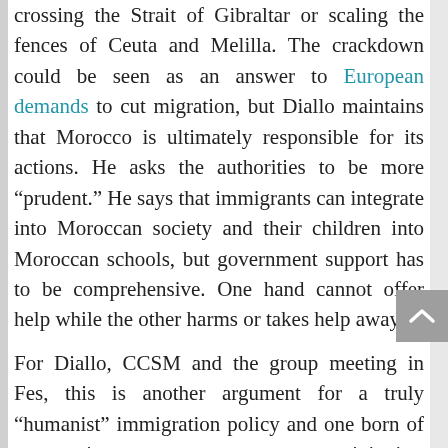crossing the Strait of Gibraltar or scaling the fences of Ceuta and Melilla. The crackdown could be seen as an answer to European demands to cut migration, but Diallo maintains that Morocco is ultimately responsible for its actions. He asks the authorities to be more “prudent.” He says that immigrants can integrate into Moroccan society and their children into Moroccan schools, but government support has to be comprehensive. One hand cannot offer help while the other harms or takes help away.
For Diallo, CCSM and the group meeting in Fes, this is another argument for a truly “humanist” immigration policy and one born of cooperation among government ministries, rooted in a